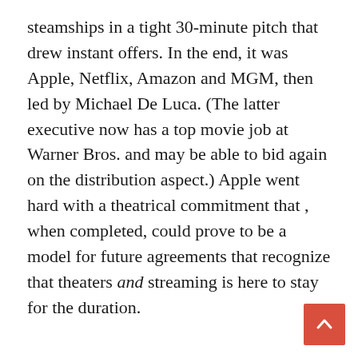steamships in a tight 30-minute pitch that drew instant offers. In the end, it was Apple, Netflix, Amazon and MGM, then led by Michael De Luca. (The latter executive now has a top movie job at Warner Bros. and may be able to bid again on the distribution aspect.) Apple went hard with a theatrical commitment that , when completed, could prove to be a model for future agreements that recognize that theaters and streaming is here to stay for the duration.